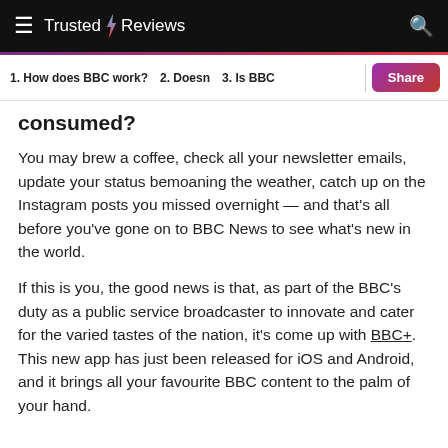Trusted Reviews
1. How does BBC work?  2. Doesn  3. Is BBC
consumed?
You may brew a coffee, check all your newsletter emails, update your status bemoaning the weather, catch up on the Instagram posts you missed overnight — and that's all before you've gone on to BBC News to see what's new in the world.
If this is you, the good news is that, as part of the BBC's duty as a public service broadcaster to innovate and cater for the varied tastes of the nation, it's come up with BBC+. This new app has just been released for iOS and Android, and it brings all your favourite BBC content to the palm of your hand.